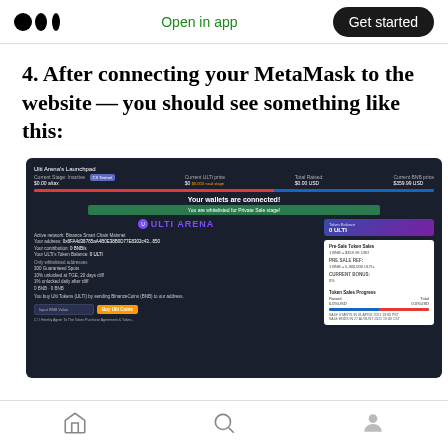Medium app header with logo, Open in app, Get started button
4. After connecting your MetaMask to the website — you should see something like this:
[Figure (screenshot): Screenshot of Ulti Arena Launchpad interface showing wallet connected status, whitelisted for Private Sale stage, ULTI ARENA logo, account details, token balance of 0 ULTI, Pre-Sale Token Sales info, and a Buy UltiCoin button.]
Bottom navigation bar with home, search, and profile icons